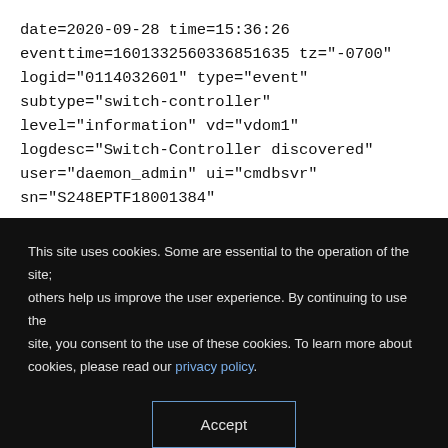date=2020-09-28 time=15:36:26 eventtime=1601332560336851635 tz="-0700" logid="0114032601" type="event" subtype="switch-controller" level="information" vd="vdom1" logdesc="Switch-Controller discovered" user="daemon_admin" ui="cmdbsvr" sn="S248EPTF18001384"
This site uses cookies. Some are essential to the operation of the site; others help us improve the user experience. By continuing to use the site, you consent to the use of these cookies. To learn more about cookies, please read our privacy policy.